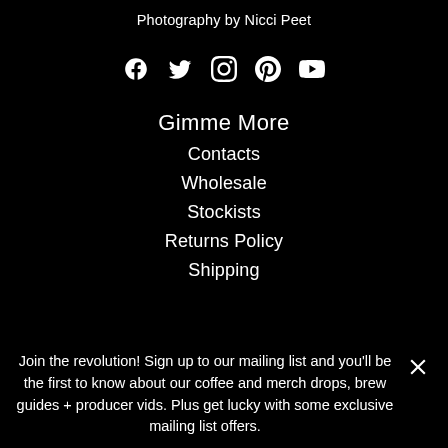Photography by Nicci Peet
[Figure (infographic): Row of 5 social media icons: Facebook, Twitter, Instagram, Pinterest, YouTube]
Gimme More
Contacts
Wholesale
Stockists
Returns Policy
Shipping
Join the revolution! Sign up to our mailing list and you'll be the first to know about our coffee and merch drops, brew guides + producer vids. Plus get lucky with some exclusive mailing list offers.